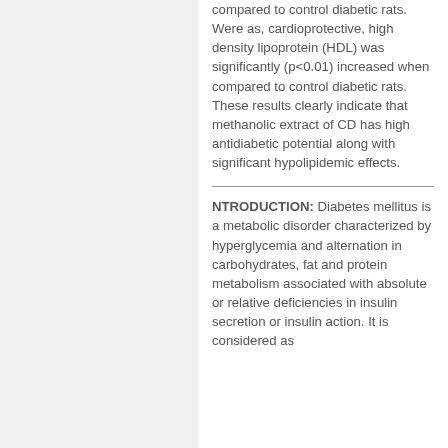compared to control diabetic rats. Were as, cardioprotective, high density lipoprotein (HDL) was significantly (p<0.01) increased when compared to control diabetic rats. These results clearly indicate that methanolic extract of CD has high antidiabetic potential along with significant hypolipidemic effects.
NTRODUCTION: Diabetes mellitus is a metabolic disorder characterized by hyperglycemia and alternation in carbohydrates, fat and protein metabolism associated with absolute or relative deficiencies in insulin secretion or insulin action. It is considered as